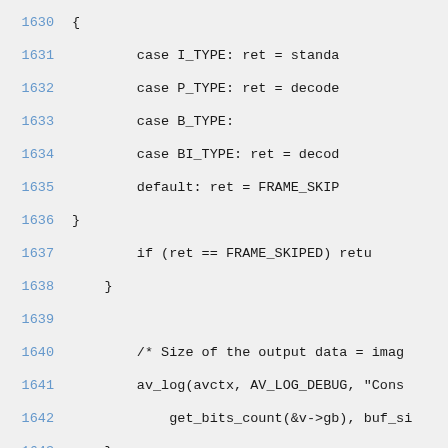1630    {
1631        case I_TYPE: ret = standa
1632        case P_TYPE: ret = decode
1633        case B_TYPE:
1634        case BI_TYPE: ret = decod
1635        default: ret = FRAME_SKIP
1636    }
1637        if (ret == FRAME_SKIPED) retu
1638    }
1639
1640        /* Size of the output data = imag
1641        av_log(avctx, AV_LOG_DEBUG, "Cons
1642            get_bits_count(&v->gb), buf_si
1643    }
1644    else